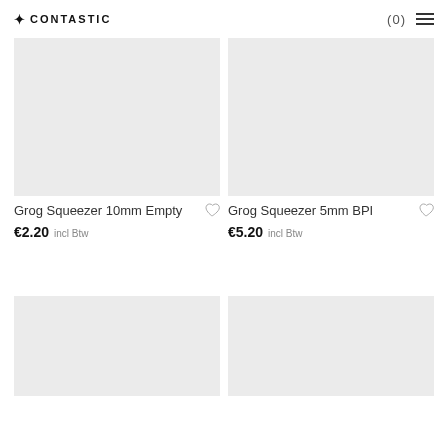Contastic — (0)
[Figure (photo): Product image placeholder — grey rectangle for Grog Squeezer 10mm Empty]
Grog Squeezer 10mm Empty
€2.20 incl Btw
[Figure (photo): Product image placeholder — grey rectangle for Grog Squeezer 5mm BPI]
Grog Squeezer 5mm BPI
€5.20 incl Btw
[Figure (photo): Product image placeholder — grey rectangle (bottom left)]
[Figure (photo): Product image placeholder — grey rectangle (bottom right)]